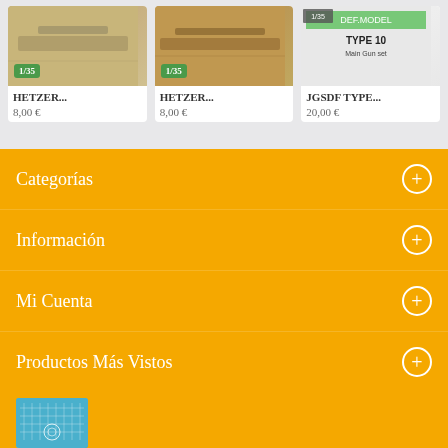[Figure (photo): Product image of HETZER model kit with 1/35 badge]
[Figure (photo): Product image of HETZER model kit with 1/35 badge]
[Figure (photo): Product image of JGSDF TYPE 10 Main Gun set]
HETZER...
8,00 €
HETZER...
8,00 €
JGSDF TYPE...
20,00 €
Categorías
Información
Mi Cuenta
Productos Más Vistos
[Figure (photo): Product thumbnail image with blue background]